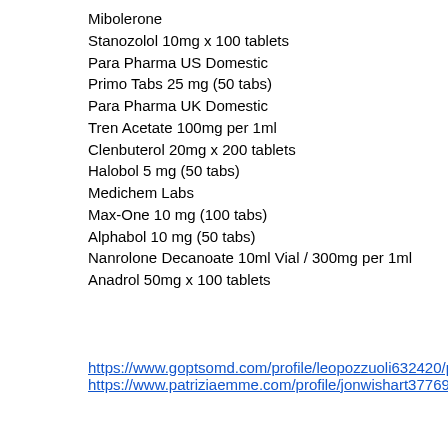Mibolerone
Stanozolol 10mg x 100 tablets
Para Pharma US Domestic
Primo Tabs 25 mg (50 tabs)
Para Pharma UK Domestic
Tren Acetate 100mg per 1ml
Clenbuterol 20mg x 200 tablets
Halobol 5 mg (50 tabs)
Medichem Labs
Max-One 10 mg (100 tabs)
Alphabol 10 mg (50 tabs)
Nanrolone Decanoate 10ml Vial / 300mg per 1ml
Anadrol 50mg x 100 tablets
https://www.goptsomd.com/profile/leopozzuoli632420/profile
https://www.patriziaemme.com/profile/jonwishart377691/profile